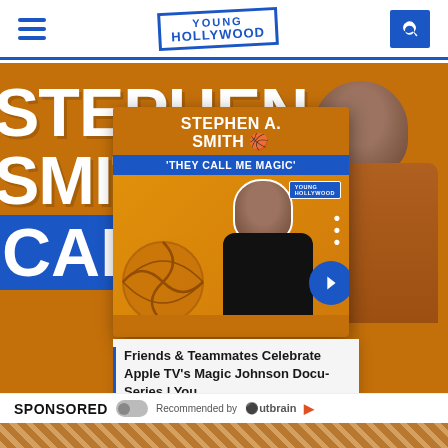Young Hollywood
[Figure (screenshot): Young Hollywood website screenshot showing Stephen A. Smith 'They Call Me Magic' video/article with overlay card, orange banner background, and sponsored content section with Outbrain recommendation widget]
STEPHEN A. SMITH 'THEY CALL ME MAGIC'
Friends & Teammates Celebrate Apple TV's Magic Johnson Docu-Series | You...
SPONSORED   Recommended by Outbrain